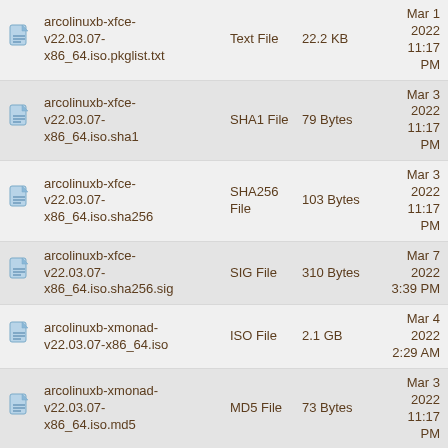arcolinuxb-xfce-v22.03.07-x86_64.iso.pkglist.txt | Text File | 22.2 KB | Mar 1 2022 11:17 PM
arcolinuxb-xfce-v22.03.07-x86_64.iso.sha1 | SHA1 File | 79 Bytes | Mar 3 2022 11:17 PM
arcolinuxb-xfce-v22.03.07-x86_64.iso.sha256 | SHA256 File | 103 Bytes | Mar 3 2022 11:17 PM
arcolinuxb-xfce-v22.03.07-x86_64.iso.sha256.sig | SIG File | 310 Bytes | Mar 7 2022 3:39 PM
arcolinuxb-xmonad-v22.03.07-x86_64.iso | ISO File | 2.1 GB | Mar 4 2022 2:29 AM
arcolinuxb-xmonad-v22.03.07-x86_64.iso.md5 | MD5 File | 73 Bytes | Mar 3 2022 11:17 PM
arcolinuxb-xmonad-v22.03.07-x86_64.iso.pkglist.txt | Text File | 25.5 KB | Mar 3 2022 11:17